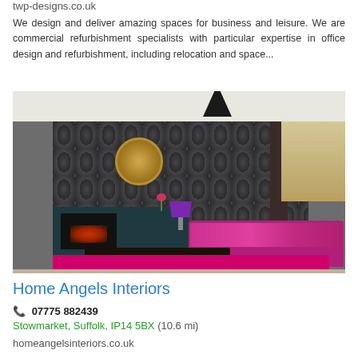twp-designs.co.uk
We design and deliver amazing spaces for business and leisure. We are commercial refurbishment specialists with particular expertise in office design and refurbishment, including relocation and space...
[Figure (photo): Interior design photo showing a stylish living room with dark damask-patterned wallpaper, a gold circular mirror, a chandelier, a pink/magenta sofa with cushions, a dark wooden coffee table, a bright pink rug on the floor, a built-in fireplace with a dark teal cabinet, a purple lamp, and a window with beige blinds and dark curtains.]
Home Angels Interiors
07775 882439
Stowmarket, Suffolk, IP14 5BX (10.6 mi)
homeangelsinteriors.co.uk